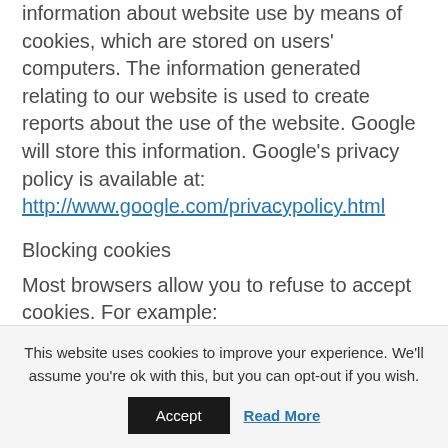information about website use by means of cookies, which are stored on users' computers. The information generated relating to our website is used to create reports about the use of the website. Google will store this information. Google's privacy policy is available at: http://www.google.com/privacypolicy.html
Blocking cookies
Most browsers allow you to refuse to accept cookies. For example:
This website uses cookies to improve your experience. We'll assume you're ok with this, but you can opt-out if you wish.